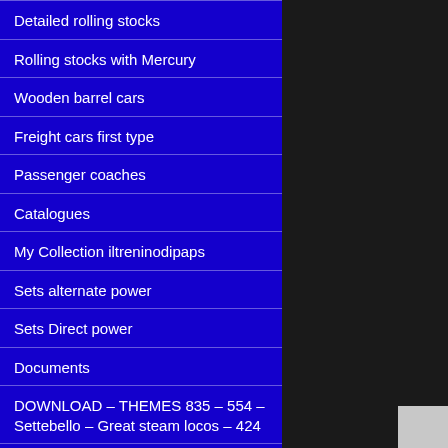Detailed rolling stocks
Rolling stocks with Mercury
Wooden barrel cars
Freight cars first type
Passenger coaches
Catalogues
My Collection iltreninodipaps
Sets alternate power
Sets Direct power
Documents
DOWNLOAD – THEMES 835 – 554 – Settebello – Great steam locos – 424
Conti Vintage Toys
The ETR